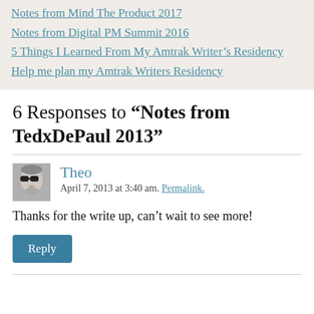Notes from Mind The Product 2017
Notes from Digital PM Summit 2016
5 Things I Learned From My Amtrak Writer's Residency
Help me plan my Amtrak Writers Residency
6 Responses to “Notes from TedxDePaul 2013”
Theo
April 7, 2013 at 3:40 am. Permalink.
Thanks for the write up, can’t wait to see more!